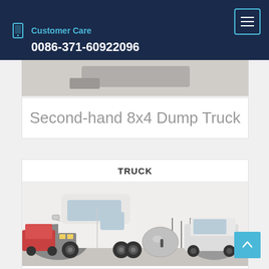Customer Care 0086-371-60922096
Second-hand 8x4 Dump Truck
TRUCK
[Figure (photo): White heavy-duty truck / tractor unit parked outdoors, with trees and other trucks visible in background]